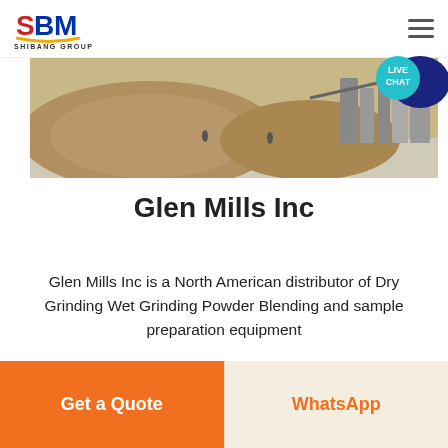SBM SHIBANG GROUP
[Figure (photo): Aerial or ground-level photo of a mining or quarrying site with sand/gravel piles and industrial equipment in the background]
Glen Mills Inc
Glen Mills Inc is a North American distributor of Dry Grinding Wet Grinding Powder Blending and sample preparation equipment
Get a Quote | WhatsApp